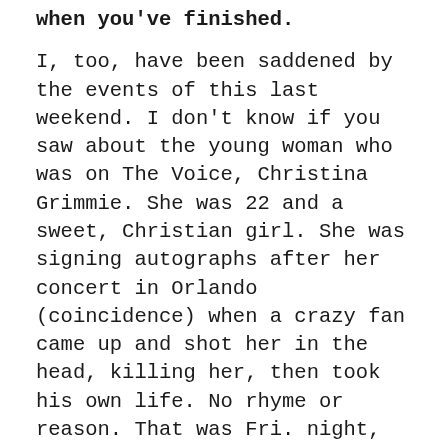when you've finished.

I, too, have been saddened by the events of this last weekend. I don't know if you saw about the young woman who was on The Voice, Christina Grimmie. She was 22 and a sweet, Christian girl. She was signing autographs after her concert in Orlando (coincidence) when a crazy fan came up and shot her in the head, killing her, then took his own life. No rhyme or reason. That was Fri. night, then Sun., early AM, the massacre at the night club. So senseless and evil. His supposed reason was because they were gay. I'm not a proponent of that lifestyle, but killing them is not the answer. I weep for their families, friends and loved ones, and their souls. No one is ever justified for taking another's life with the exception...